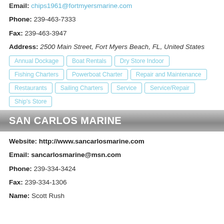Email: chips1961@fortmyersmarine.com
Phone: 239-463-7333
Fax: 239-463-3947
Address: 2500 Main Street, Fort Myers Beach, FL, United States
Annual Dockage
Boat Rentals
Dry Store Indoor
Fishing Charters
Powerboat Charter
Repair and Maintenance
Restaurants
Sailing Charters
Service
Service/Repair
Ship's Store
SAN CARLOS MARINE
Website: http://www.sancarlosmarine.com
Email: sancarlosmarine@msn.com
Phone: 239-334-3424
Fax: 239-334-1306
Name: Scott Rush